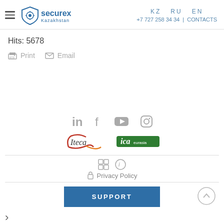securex Kazakhstan | KZ RU EN | +7 727 258 34 34 | CONTACTS
Hits: 5678
Print  Email
[Figure (logo): Social media icons: LinkedIn, Facebook, YouTube, Instagram]
[Figure (logo): Partner logos: ITECA and ICA Eurasia]
Privacy Policy
SUPPORT